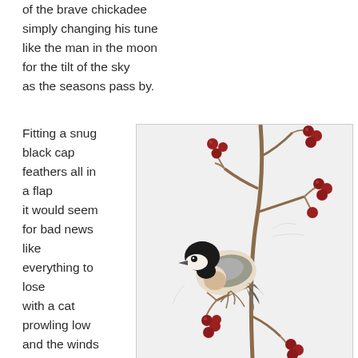of the brave chickadee
simply changing his tune
like the man in the moon
for the tilt of the sky
as the seasons pass by.
Fitting a snug
black cap
feathers all in
a flap
it would seem
for bad news
like
everything to
lose
with a cat
prowling low
and the winds
biting so
[Figure (illustration): Illustration of a chickadee bird with black cap perched on a branch with red berries, drawn in a naturalistic watercolor/pencil style on a light grey background.]